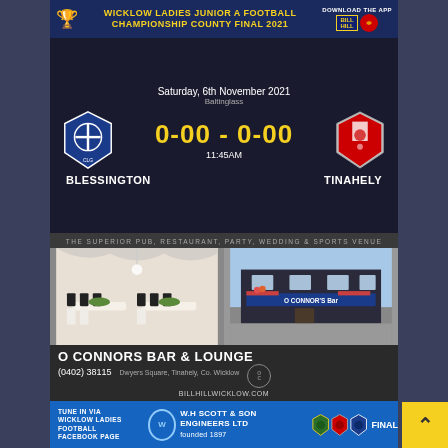WICKLOW LADIES JUNIOR A FOOTBALL CHAMPIONSHIP COUNTY FINAL 2021
DOWNLOAD THE APP
[Figure (infographic): Match scorecard: Saturday, 6th November 2021, Baltinglass. Score 0-00 - 0-00, 11:45AM. Blessington vs Tinahely with team crests.]
[Figure (photo): O Connors Bar & Lounge advertisement showing interior dining setup and exterior pub photo. THE SUPERIOR PUB, RESTAURANT, PARTY, WEDDING & SPORTS VENUE. Phone (0402) 38115, Dwyers Square, Tinahely, Co. Wicklow.]
BILLHILLWICKLOW.COM
TUNE IN VIA WICKLOW LADIES FOOTBALL FACEBOOK PAGE
W.H SCOTT & SON ENGINEERS LTD founded 1897
FINAL